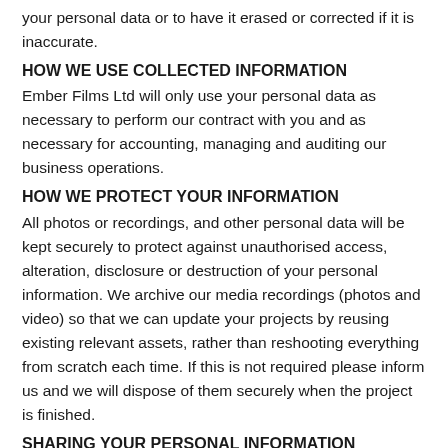your personal data or to have it erased or corrected if it is inaccurate.
HOW WE USE COLLECTED INFORMATION
Ember Films Ltd will only use your personal data as necessary to perform our contract with you and as necessary for accounting, managing and auditing our business operations.
HOW WE PROTECT YOUR INFORMATION
All photos or recordings, and other personal data will be kept securely to protect against unauthorised access, alteration, disclosure or destruction of your personal information. We archive our media recordings (photos and video) so that we can update your projects by reusing existing relevant assets, rather than reshooting everything from scratch each time. If this is not required please inform us and we will dispose of them securely when the project is finished.
SHARING YOUR PERSONAL INFORMATION
We will not sell or allow third parties access to your